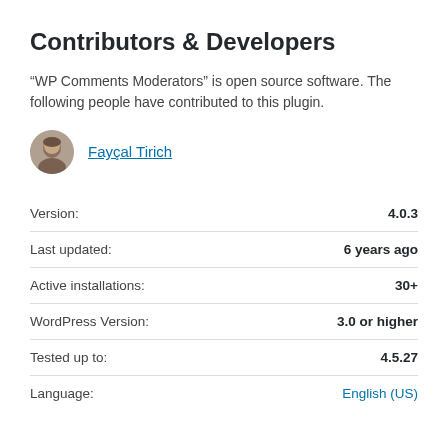Contributors & Developers
“WP Comments Moderators” is open source software. The following people have contributed to this plugin.
[Figure (photo): Circular avatar photo of contributor Fayçal Tirich]
Fayçal Tirich
| Label | Value |
| --- | --- |
| Version: | 4.0.3 |
| Last updated: | 6 years ago |
| Active installations: | 30+ |
| WordPress Version: | 3.0 or higher |
| Tested up to: | 4.5.27 |
| Language: | English (US) |